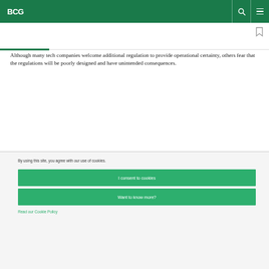BCG
Although many tech companies welcome additional regulation to provide operational certainty, others fear that the regulations will be poorly designed and have unintended consequences.
By using this site, you agree with our use of cookies.
I consent to cookies
Want to know more?
Read our Cookie Policy